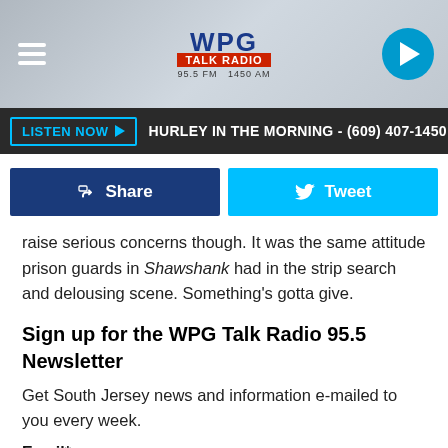[Figure (screenshot): WPG Talk Radio website header with logo, hamburger menu, and play button]
LISTEN NOW ▶  HURLEY IN THE MORNING - (609) 407-1450
[Figure (screenshot): Facebook Share and Twitter Tweet social sharing buttons]
raise serious concerns though. It was the same attitude prison guards in Shawshank had in the strip search and delousing scene. Something's gotta give.
Sign up for the WPG Talk Radio 95.5 Newsletter
Get South Jersey news and information e-mailed to you every week.
Email*
Email*